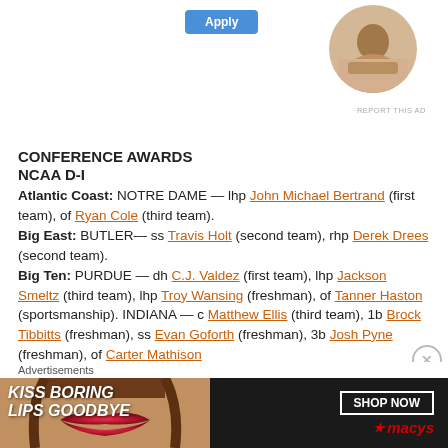[Figure (other): Top advertisement area with blue Apply button on left and circular photo of person on right]
CONFERENCE AWARDS
NCAA D-I
Atlantic Coast: NOTRE DAME — lhp John Michael Bertrand (first team), of Ryan Cole (third team).
Big East: BUTLER— ss Travis Holt (second team), rhp Derek Drees (second team).
Big Ten: PURDUE — dh C.J. Valdez (first team), lhp Jackson Smeltz (third team), lhp Troy Wansing (freshman), of Tanner Haston (sportsmanship). INDIANA — c Matthew Ellis (third team), 1b Brock Tibbitts (freshman), ss Evan Goforth (freshman), 3b Josh Pyne (freshman), of Carter Mathison
[Figure (other): Bottom advertisement banner: KISS BORING LIPS GOODBYE — SHOP NOW — macys]